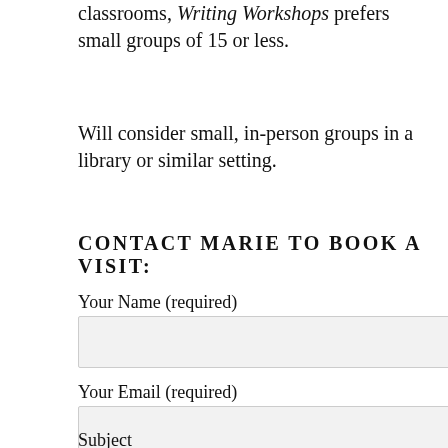classrooms, Writing Workshops prefers small groups of 15 or less.
Will consider small, in-person groups in a library or similar setting.
CONTACT MARIE TO BOOK A VISIT:
Your Name (required)
Your Email (required)
Subject